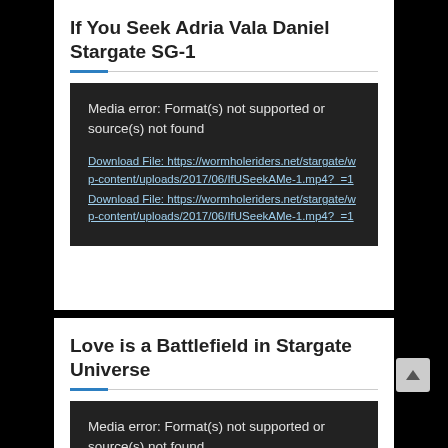If You Seek Adria Vala Daniel Stargate SG-1
[Figure (screenshot): Media player error box with dark background showing: 'Media error: Format(s) not supported or source(s) not found' and two download file links to https://wormholeriders.net/stargate/wp-content/uploads/2017/06/IfUSeekAMe-1.mp4?_=1]
Love is a Battlefield in Stargate Universe
[Figure (screenshot): Media player error box with dark background showing: 'Media error: Format(s) not supported or source(s) not found' and a download file link to https://wormholeriders.net/stargate/wp-content/uploads/...]